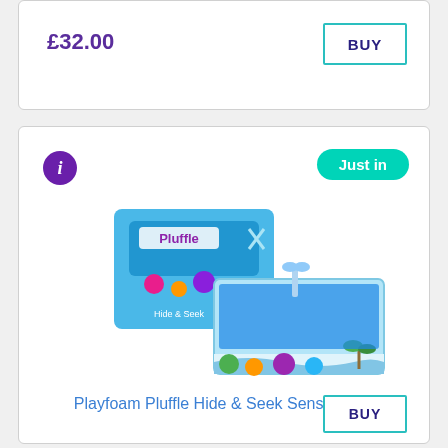£32.00
BUY
[Figure (photo): Info icon (purple circle with white italic i)]
Just in
[Figure (photo): Playfoam Pluffle Hide & Seek Sensory Set product photo showing a blue box and open tray with foam beads and sea creature toys including scissors tool]
Playfoam Pluffle Hide & Seek Sensory Set
BUY